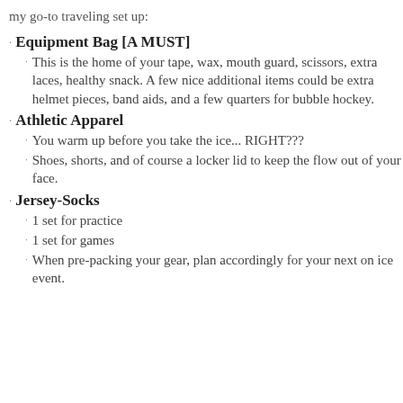my go-to traveling set up:
Equipment Bag [A MUST]
This is the home of your tape, wax, mouth guard, scissors, extra laces, healthy snack. A few nice additional items could be extra helmet pieces, band aids, and a few quarters for bubble hockey.
Athletic Apparel
You warm up before you take the ice... RIGHT???
Shoes, shorts, and of course a locker lid to keep the flow out of your face.
Jersey-Socks
1 set for practice
1 set for games
When pre-packing your gear, plan accordingly for your next on ice event.